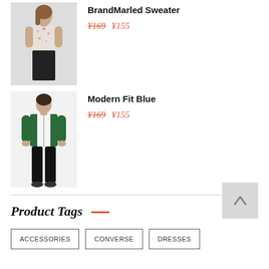[Figure (photo): Product photo of a woman in a floral sleeveless top (BrandMarled Sweater)]
BrandMarled Sweater
¥169  ¥155
[Figure (photo): Product photo of a man in a green zip-up jacket (Modern Fit Blue)]
Modern Fit Blue
¥169  ¥155
Product Tags
ACCESSORIES
CONVERSE
DRESSES